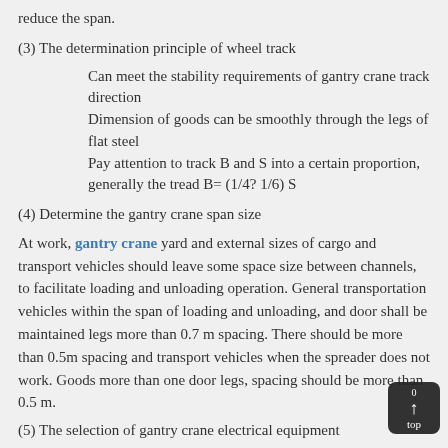reduce the span.
(3) The determination principle of wheel track
Can meet the stability requirements of gantry crane track direction
Dimension of goods can be smoothly through the legs of flat steel
Pay attention to track B and S into a certain proportion, generally the tread B= (1/4? 1/6) S
(4) Determine the gantry crane span size
At work, gantry crane yard and external sizes of cargo and transport vehicles should leave some space size between channels, to facilitate loading and unloading operation. General transportation vehicles within the span of loading and unloading, and door shall be maintained legs more than 0.7 m spacing. There should be more than 0.5m spacing and transport vehicles when the spreader does not work. Goods more than one door legs, spacing should be more than 0.5 m.
(5) The selection of gantry crane electrical equipment